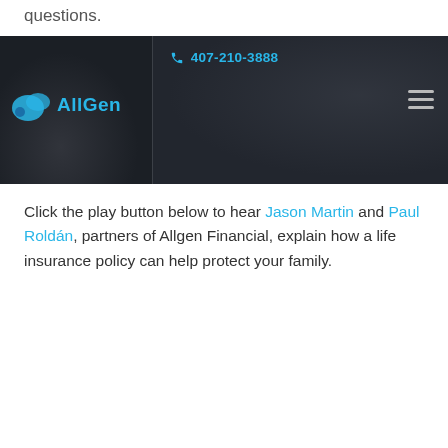questions.
[Figure (screenshot): AllGen Financial website header with dark background showing phone number 407-210-3888 in cyan, AllGen logo on left, and hamburger menu on right]
Click the play button below to hear Jason Martin and Paul Roldán, partners of Allgen Financial, explain how a life insurance policy can help protect your family.